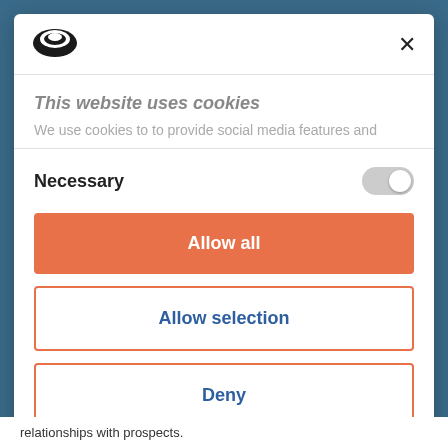[Figure (logo): Cookiebot shield/cookie logo icon]
×
This website uses cookies
We use cookies to to provide social media features and
Necessary
[Figure (other): Toggle switch in off/grey state]
Allow all
Allow selection
Deny
Powered by Cookiebot by Usercentrics
relationships with prospects.